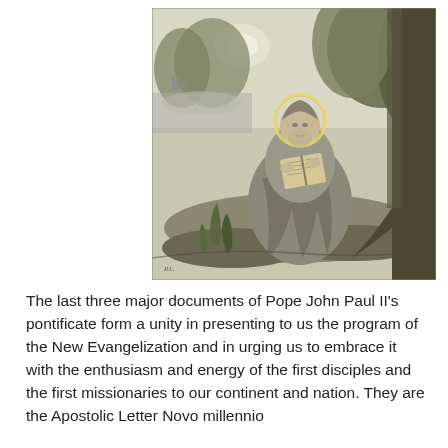[Figure (illustration): Engraving of a robed saint or apostle with a halo, seated outdoors under trees, reading from an open book. A river or water scene is visible in the background on the left. The style is a classical religious illustration in gray tones.]
The last three major documents of Pope John Paul II's pontificate form a unity in presenting to us the program of the New Evangelization and in urging us to embrace it with the enthusiasm and energy of the first disciples and the first missionaries to our continent and nation. They are the Apostolic Letter Novo millennio